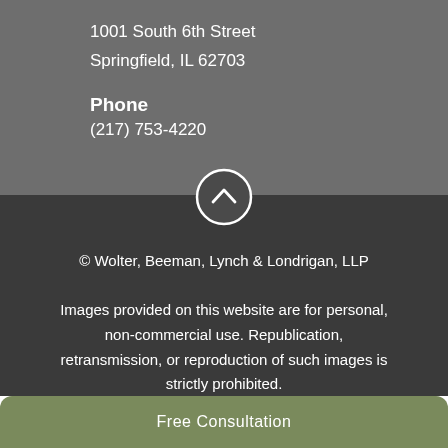1001 South 6th Street
Springfield, IL 62703
Phone
(217) 753-4220
[Figure (other): Circular button with upward chevron arrow icon for scrolling to top]
© Wolter, Beeman, Lynch & Londrigan, LLP
Images provided on this website are for personal, non-commercial use. Republication, retransmission, or reproduction of such images is strictly prohibited.
Free Consultation